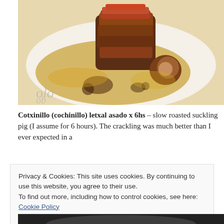[Figure (photo): A plate of slow-roasted suckling pig (cotxinillo) with golden sauce and caramelized crackling on a white plate, viewed from above.]
Cotxinillo (cochinillo) letxal asado x 6hs – slow roasted suckling pig (I assume for 6 hours). The crackling was much better than I ever expected in a
Privacy & Cookies: This site uses cookies. By continuing to use this website, you agree to their use.
To find out more, including how to control cookies, see here: Cookie Policy
Close and accept
[Figure (photo): Bottom edge of a second food photo, partially visible.]